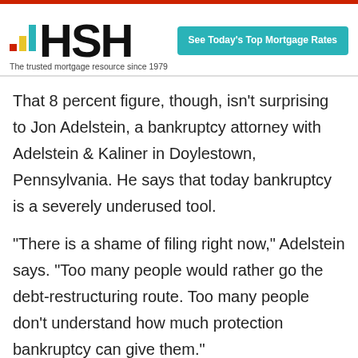HSH — The trusted mortgage resource since 1979
That 8 percent figure, though, isn't surprising to Jon Adelstein, a bankruptcy attorney with Adelstein & Kaliner in Doylestown, Pennsylvania. He says that today bankruptcy is a severely underused tool.
"There is a shame of filing right now," Adelstein says. "Too many people would rather go the debt-restructuring route. Too many people don't understand how much protection bankruptcy can give them."